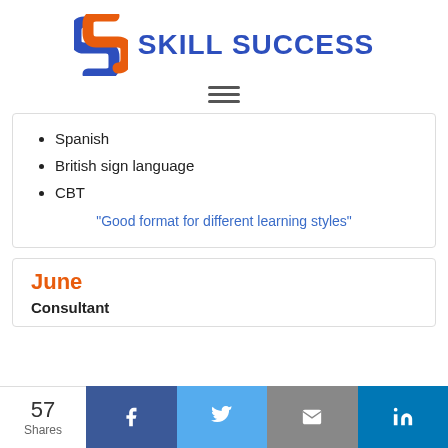[Figure (logo): Skill Success logo with stylized S in blue and orange, and text SKILL SUCCESS in dark blue bold]
[Figure (other): Hamburger menu icon with three horizontal lines]
Spanish
British sign language
CBT
"Good format for different learning styles"
June
Consultant
[Figure (other): Social share bar with 57 Shares, Facebook, Twitter, Email, LinkedIn buttons]